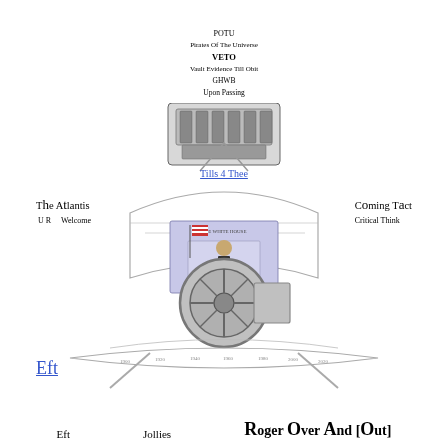POTU
Pirates Of The Universe
VETO
Vault Evidence Till Obit
GHWB
Upon Passing
[Figure (illustration): Composite illustration: cash register at top, ship bow, White House podium with figure, vault/safe mechanism, canoes at bottom]
Tills 4 Thee
The Atlantis
U R    Welcome
Coming Tact
Critical Think
Eft
Eft          Jollies          Roger Over And [Out]